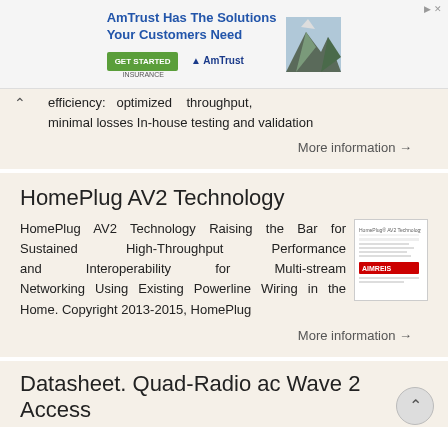[Figure (other): AmTrust Insurance advertisement banner with text 'AmTrust Has The Solutions Your Customers Need', a GET STARTED button, AmTrust logo, and mountain image]
efficiency: optimized throughput, minimal losses In-house testing and validation
More information →
HomePlug AV2 Technology
HomePlug AV2 Technology Raising the Bar for Sustained High-Throughput Performance and Interoperability for Multi-stream Networking Using Existing Powerline Wiring in the Home. Copyright 2013-2015, HomePlug
More information →
Datasheet. Quad-Radio ac Wave 2 Access